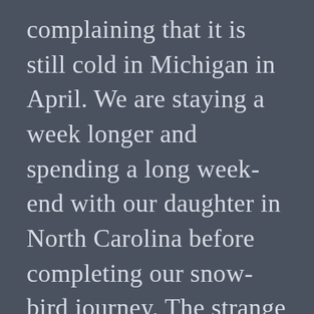complaining that it is still cold in Michigan in April. We are staying a week longer and spending a long week-end with our daughter in North Carolina before completing our snow-bird journey. The strange thing that is happening is that I'm not ready to leave Florida. I finally felt like I was here and enjoying myself as I was walking across the parking lot towards the pool a couple of weeks ago. It was a jolt of